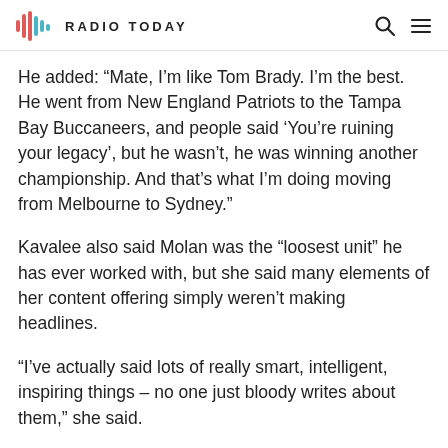RADIO TODAY
He added: “Mate, I’m like Tom Brady. I’m the best. He went from New England Patriots to the Tampa Bay Buccaneers, and people said ‘You’re ruining your legacy’, but he wasn’t, he was winning another championship. And that’s what I’m doing moving from Melbourne to Sydney.”
Kavalee also said Molan was the “losest unit” he has ever worked with, but she said many elements of her content offering simply weren’t making headlines.
“I’ve actually said lots of really smart, intelligent, inspiring things – no one just bloody writes about them,” she said.